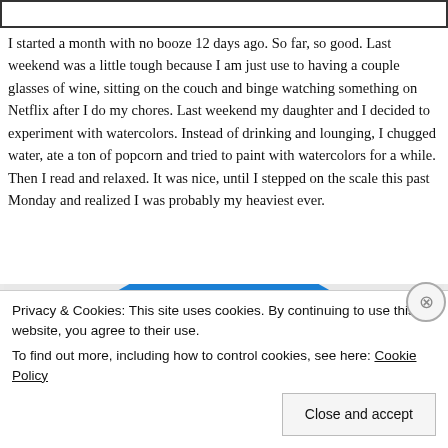I started a month with no booze 12 days ago. So far, so good. Last weekend was a little tough because I am just use to having a couple glasses of wine, sitting on the couch and binge watching something on Netflix after I do my chores. Last weekend my daughter and I decided to experiment with watercolors. Instead of drinking and lounging, I chugged water, ate a ton of popcorn and tried to paint with watercolors for a while. Then I read and relaxed. It was nice, until I stepped on the scale this past Monday and realized I was probably my heaviest ever.
[Figure (infographic): A circular infographic showing WEEK 3 BLOOD PRESSURE text on a blue semicircle background, partially visible]
Privacy & Cookies: This site uses cookies. By continuing to use this website, you agree to their use. To find out more, including how to control cookies, see here: Cookie Policy
Close and accept